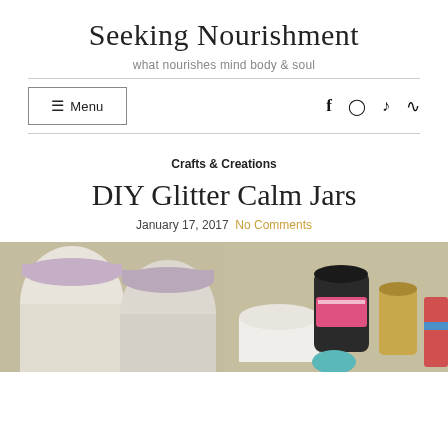Seeking Nourishment
what nourishes mind body & soul
≡ Menu
f  instagram  tiktok  rss
Crafts & Creations
DIY Glitter Calm Jars
January 17, 2017  No Comments
[Figure (photo): Two mason jars with lavender/purple lids on a beige background]
[Figure (photo): Craft supplies including jars, glitter, and other ingredients on a beige background]